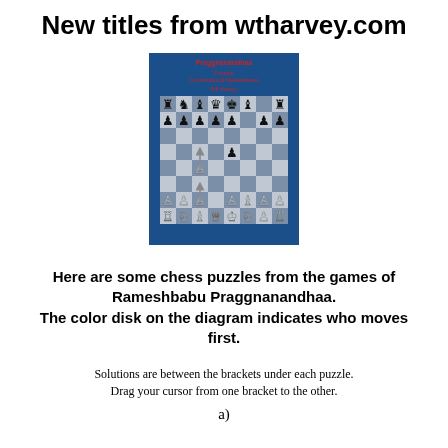New titles from wtharvey.com
[Figure (illustration): Book cover with blue background showing a chess board position with pieces, and red text at top of cover.]
Here are some chess puzzles from the games of Rameshbabu Praggnanandhaa. The color disk on the diagram indicates who moves first.
Solutions are between the brackets under each puzzle. Drag your cursor from one bracket to the other.
a)